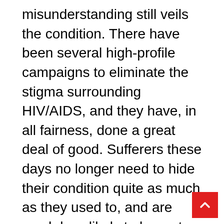misunderstanding still veils the condition. There have been several high-profile campaigns to eliminate the stigma surrounding HIV/AIDS, and they have, in all fairness, done a great deal of good. Sufferers these days no longer need to hide their condition quite as much as they used to, and are much less likely to be met with open horror and disgust as they were a few years ago. Sympathy and support are increasingly being offered to those with HIV/AIDS, and the world is slowly coming round to the idea that those with the condition may not be quite the bogeyman they were made out to be. However, deeply entrenched ideas can take time to eradicate. At the back of most people's minds, HIV/AIDS is still something of a monster – not least the minds of those who are diagnosed with the virus. Social exclusion and the still-existent stigma acting upon the reactions of others to you is one thing, but your own reaction to your HIV positive status is quite another. Receiving an HIV-